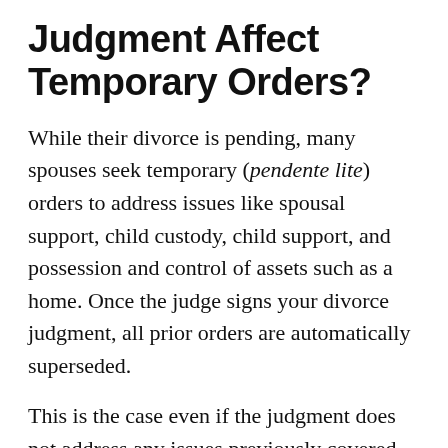Judgment Affect Temporary Orders?
While their divorce is pending, many spouses seek temporary (pendente lite) orders to address issues like spousal support, child custody, child support, and possession and control of assets such as a home. Once the judge signs your divorce judgment, all prior orders are automatically superseded.
This is the case even if the judgment does not address any issues previously covered by court orders or terms of settlements. It is therefore